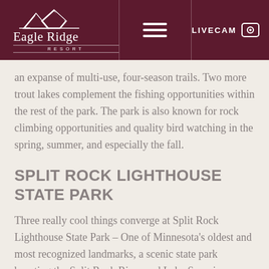Eagle Ridge Resort | LIVECAM
an expanse of multi-use, four-season trails. Two more trout lakes complement the fishing opportunities within the rest of the park. The park is also known for rock climbing opportunities and quality bird watching in the spring, summer, and especially the fall.
SPLIT ROCK LIGHTHOUSE STATE PARK
Three really cool things converge at Split Rock Lighthouse State Park – One of Minnesota's oldest and most recognized landmarks, a scenic state park boasting the Split Rock River and Lake Superior shoreline, and the Gitchi Gami bike trail. Spend an